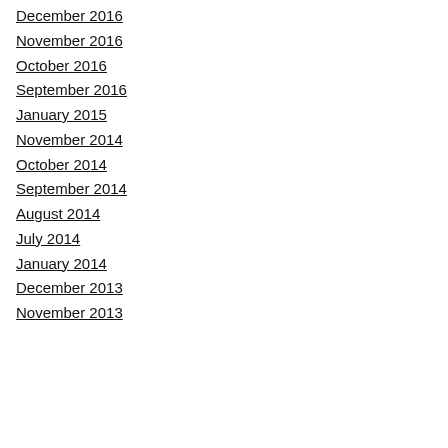December 2016
November 2016
October 2016
September 2016
January 2015
November 2014
October 2014
September 2014
August 2014
July 2014
January 2014
December 2013
November 2013